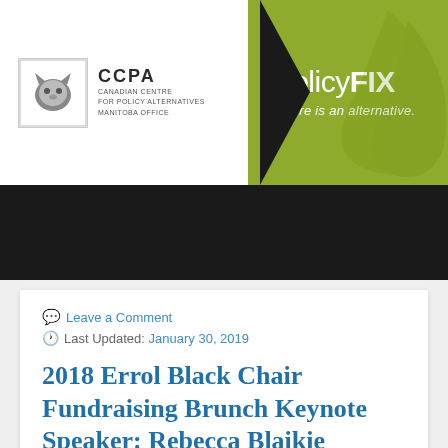[Figure (logo): CCPA Canadian Centre for Policy Alternatives Manitoba Office logo with policyFIX tagline 'There is an alternative.' on green background]
Leave a Comment
Last Updated: January 30, 2019
2018 Errol Black Chair Fundraising Brunch Keynote Speaker: Rebecca Blaikie
By Rebecca Blaikie Good Morning. It is an